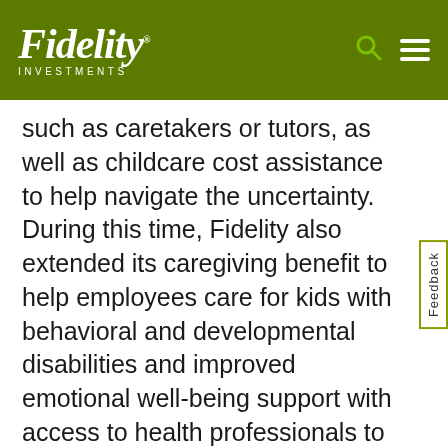Fidelity Investments
such as caretakers or tutors, as well as childcare cost assistance to help navigate the uncertainty. During this time, Fidelity also extended its caregiving benefit to help employees care for kids with behavioral and developmental disabilities and improved emotional well-being support with access to health professionals to assist with stress and anxiety.
To Lessen the Stress, Build a Roadmap for Success
One way of doing for continuity that is